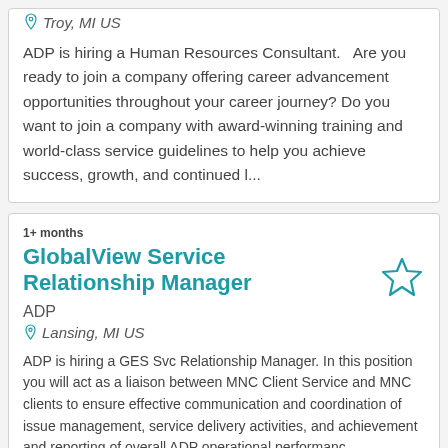Troy, MI US
ADP is hiring a Human Resources Consultant.   Are you ready to join a company offering career advancement opportunities throughout your career journey? Do you want to join a company with award-winning training and world-class service guidelines to help you achieve success, growth, and continued l...
1+ months
GlobalView Service Relationship Manager
ADP
Lansing, MI US
ADP is hiring a GES Svc Relationship Manager. In this position you will act as a liaison between MNC Client Service and MNC clients to ensure effective communication and coordination of issue management, service delivery activities, and achievement and reporting of overall ADP operational performanc...